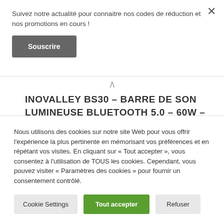Suivez notre actualité pour connaitre nos codes de réduction et nos promotions en cours !
Souscrire
INOVALLEY BS30 – BARRE DE SON LUMINEUSE BLUETOOTH 5.0 – 60W – PORTÉE 10M – RADIO FM, PORT USB, MICRO-SD
Nous utilisons des cookies sur notre site Web pour vous offrir l'expérience la plus pertinente en mémorisant vos préférences et en répétant vos visites. En cliquant sur « Tout accepter », vous consentez à l'utilisation de TOUS les cookies. Cependant, vous pouvez visiter « Paramètres des cookies » pour fournir un consentement contrôlé.
Cookie Settings   Tout accepter   Refuser